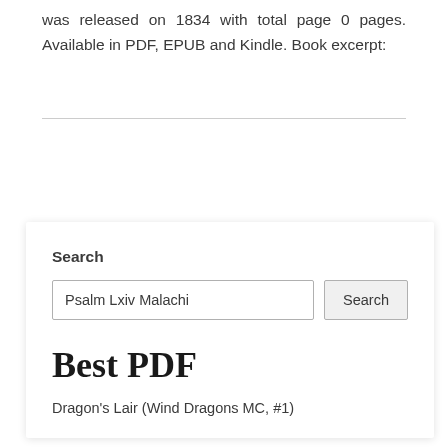was released on 1834 with total page 0 pages. Available in PDF, EPUB and Kindle. Book excerpt:
Search
Psalm Lxiv Malachi
Best PDF
Dragon's Lair (Wind Dragons MC, #1)